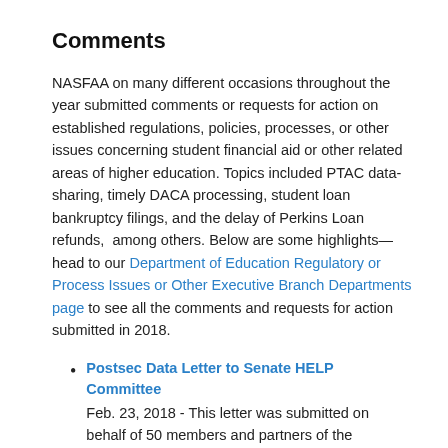Comments
NASFAA on many different occasions throughout the year submitted comments or requests for action on established regulations, policies, processes, or other issues concerning student financial aid or other related areas of higher education. Topics included PTAC data-sharing, timely DACA processing, student loan bankruptcy filings, and the delay of Perkins Loan refunds, among others. Below are some highlights—head to our Department of Education Regulatory or Process Issues or Other Executive Branch Departments page to see all the comments and requests for action submitted in 2018.
Postsec Data Letter to Senate HELP Committee
Feb. 23, 2018 - This letter was submitted on behalf of 50 members and partners of the